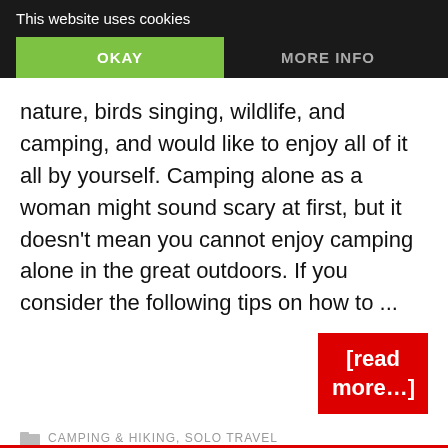This website uses cookies
OKAY
MORE INFO
nature, birds singing, wildlife, and camping, and would like to enjoy all of it all by yourself. Camping alone as a woman might sound scary at first, but it doesn't mean you cannot enjoy camping alone in the great outdoors. If you consider the following tips on how to ...
[read more...]
CAMPING & HIKING, SOLO TRAVEL